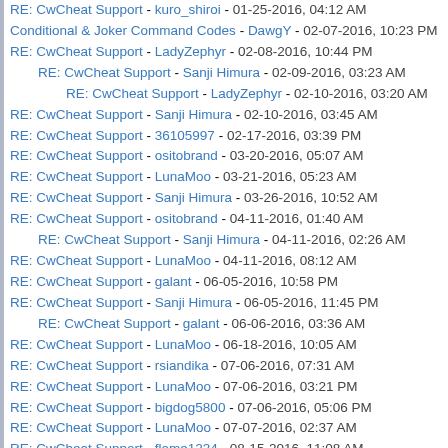RE: CwCheat Support - kuro_shiroi - 01-25-2016, 04:12 AM
Conditional & Joker Command Codes - DawgY - 02-07-2016, 10:23 PM
RE: CwCheat Support - LadyZephyr - 02-08-2016, 10:44 PM
RE: CwCheat Support - Sanji Himura - 02-09-2016, 03:23 AM
RE: CwCheat Support - LadyZephyr - 02-10-2016, 03:20 AM
RE: CwCheat Support - Sanji Himura - 02-10-2016, 03:45 AM
RE: CwCheat Support - 36105997 - 02-17-2016, 03:39 PM
RE: CwCheat Support - ositobrand - 03-20-2016, 05:07 AM
RE: CwCheat Support - LunaMoo - 03-21-2016, 05:23 AM
RE: CwCheat Support - Sanji Himura - 03-26-2016, 10:52 AM
RE: CwCheat Support - ositobrand - 04-11-2016, 01:40 AM
RE: CwCheat Support - Sanji Himura - 04-11-2016, 02:26 AM
RE: CwCheat Support - LunaMoo - 04-11-2016, 08:12 AM
RE: CwCheat Support - galant - 06-05-2016, 10:58 PM
RE: CwCheat Support - Sanji Himura - 06-05-2016, 11:45 PM
RE: CwCheat Support - galant - 06-06-2016, 03:36 AM
RE: CwCheat Support - LunaMoo - 06-18-2016, 10:05 AM
RE: CwCheat Support - rsiandika - 07-06-2016, 07:31 AM
RE: CwCheat Support - LunaMoo - 07-06-2016, 03:21 PM
RE: CwCheat Support - bigdog5800 - 07-06-2016, 05:06 PM
RE: CwCheat Support - LunaMoo - 07-07-2016, 02:37 AM
RE: CwCheat Support - flame1234 - 08-15-2016, 11:08 AM
RE: CwCheat Support - exassasinx - 09-01-2016, 05:19 PM
RE: CwCheat Support - satoshi213 - 10-14-2016, 02:53 AM
RE: CwCheat Support - frost - 12-04-2016, 03:48 AM